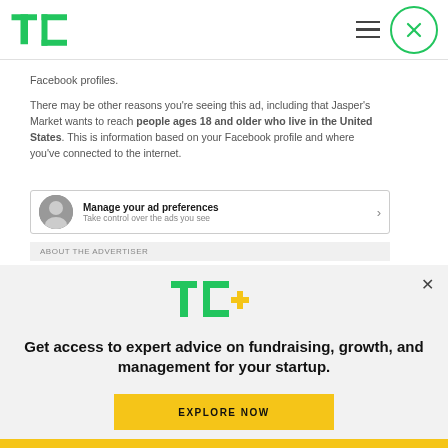[Figure (logo): TechCrunch TC logo in green, top left nav bar]
Facebook profiles.
There may be other reasons you're seeing this ad, including that Jasper's Market wants to reach people ages 18 and older who live in the United States. This is information based on your Facebook profile and where you've connected to the internet.
[Figure (infographic): Manage your ad preferences row with avatar icon and arrow. Subtitle: Take control over the ads you see]
ABOUT THE ADVERTISER
[Figure (logo): Jasper's Market verified page with thumbs up icon]
[Figure (logo): TC+ logo in banner overlay]
Get access to expert advice on fundraising, growth, and management for your startup.
EXPLORE NOW